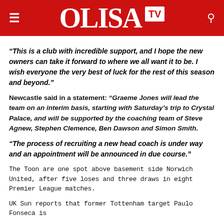OLISA TV
“This is a club with incredible support, and I hope the new owners can take it forward to where we all want it to be. I wish everyone the very best of luck for the rest of this season and beyond.”
Newcastle said in a statement: “Graeme Jones will lead the team on an interim basis, starting with Saturday’s trip to Crystal Palace, and will be supported by the coaching team of Steve Agnew, Stephen Clemence, Ben Dawson and Simon Smith.
“The process of recruiting a new head coach is under way and an appointment will be announced in due course.”
The Toon are one spot above basement side Norwich United, after five loses and three draws in eight Premier League matches.
UK Sun reports that former Tottenham target Paulo Fonseca is